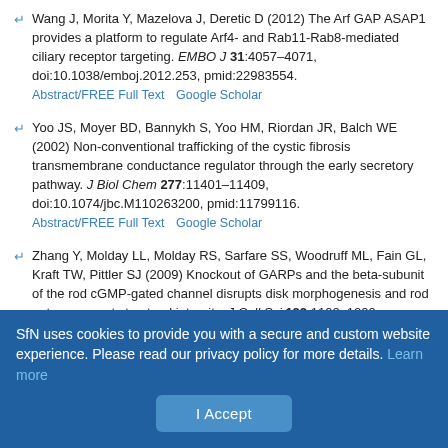Wang J, Morita Y, Mazelova J, Deretic D (2012) The Arf GAP ASAP1 provides a platform to regulate Arf4- and Rab11-Rab8-mediated ciliary receptor targeting. EMBO J 31:4057–4071, doi:10.1038/emboj.2012.253, pmid:22983554. Abstract/FREE Full Text  Google Scholar
Yoo JS, Moyer BD, Bannykh S, Yoo HM, Riordan JR, Balch WE (2002) Non-conventional trafficking of the cystic fibrosis transmembrane conductance regulator through the early secretory pathway. J Biol Chem 277:11401–11409, doi:10.1074/jbc.M110263200, pmid:11799116. Abstract/FREE Full Text  Google Scholar
Zhang Y, Molday LL, Molday RS, Sarfare SS, Woodruff ML, Fain GL, Kraft TW, Pittler SJ (2009) Knockout of GARPs and the beta-subunit of the rod cGMP-gated channel disrupts disk morphogenesis and rod outer segment structural integrity. J Cell Sci 122:1192–1200, doi:10.1242/jcs.042531, pmid:19339551. Abstract/FREE Full Text  Google Scholar
SfN uses cookies to provide you with a secure and custom website experience. Please read our privacy policy for more details. Learn more